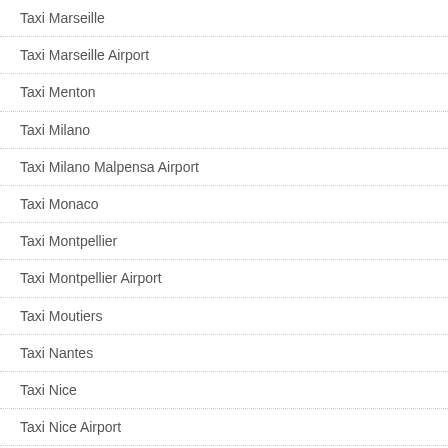Taxi Marseille
Taxi Marseille Airport
Taxi Menton
Taxi Milano
Taxi Milano Malpensa Airport
Taxi Monaco
Taxi Montpellier
Taxi Montpellier Airport
Taxi Moutiers
Taxi Nantes
Taxi Nice
Taxi Nice Airport
Taxi Nice Airport Fare Calculator
Taxi Nice Price Calculator